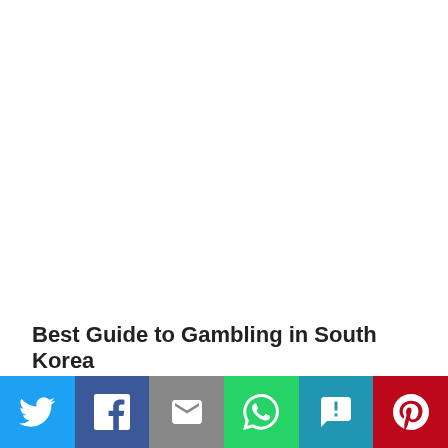Best Guide to Gambling in South Korea
Categories: Sports
[Figure (infographic): Social sharing bar with Twitter, Facebook, Email, WhatsApp, SMS, and Pinterest buttons]